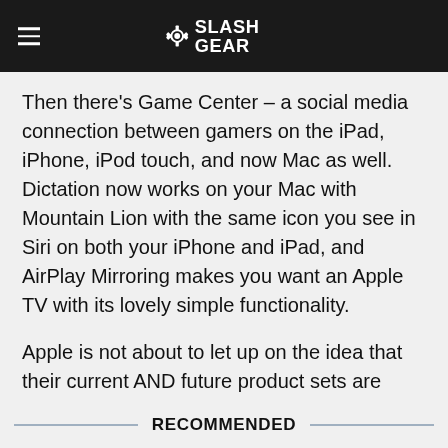SlashGear
Then there's Game Center – a social media connection between gamers on the iPad, iPhone, iPod touch, and now Mac as well. Dictation now works on your Mac with Mountain Lion with the same icon you see in Siri on both your iPhone and iPad, and AirPlay Mirroring makes you want an Apple TV with its lovely simple functionality.
Apple is not about to let up on the idea that their current AND future product sets are connected so well that it's always your first option to purchase them all for the ease of it. Stay tuned as the web tightens!
RECOMMENDED